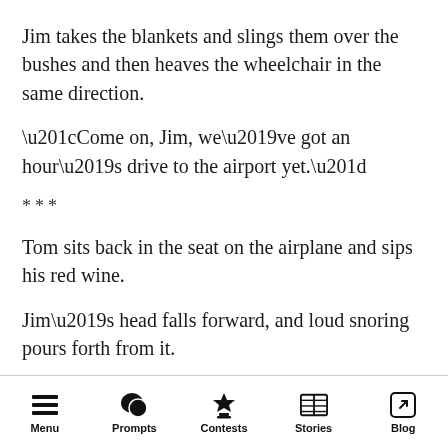Jim takes the blankets and slings them over the bushes and then heaves the wheelchair in the same direction.
“Come on, Jim, we’ve got an hour’s drive to the airport yet.”
***
Tom sits back in the seat on the airplane and sips his red wine.
Jim’s head falls forward, and loud snoring pours forth from it.
***
Menu  Prompts  Contests  Stories  Blog